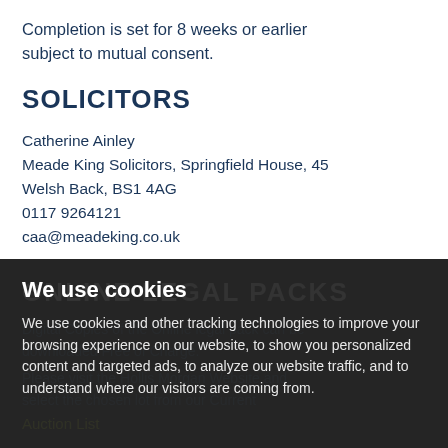Completion is set for 8 weeks or earlier subject to mutual consent.
SOLICITORS
Catherine Ainley
Meade King Solicitors, Springfield House, 45
Welsh Back, BS1 4AG
0117 9264121
caa@meadeking.co.uk
ONLINE LEGAL PACKS
Digital Copies of the Online legal pack can be downloaded Free of Charge.
Please visit the Hollis Morgan Website and select the chosen lot from our Current
Auction List.
We use cookies
We use cookies and other tracking technologies to improve your browsing experience on our website, to show you personalized content and targeted ads, to analyze our website traffic, and to understand where our visitors are coming from.